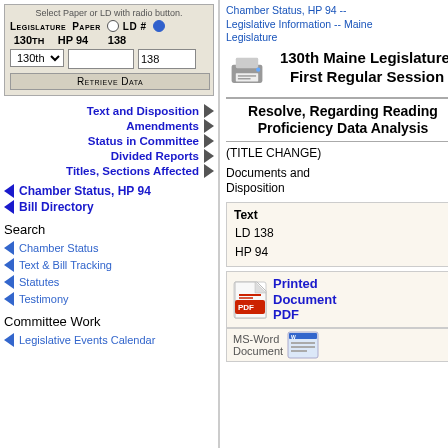Select Paper or LD with radio button.
| Legislature | Paper |  | LD # |  |
| --- | --- | --- | --- | --- |
| 130th | HP 94 |  | 138 |  |
Retrieve Data
Text and Disposition
Amendments
Status in Committee
Divided Reports
Titles, Sections Affected
Chamber Status, HP 94
Bill Directory
Search
Chamber Status
Text & Bill Tracking
Statutes
Testimony
Committee Work
Legislative Events Calendar
Chamber Status, HP 94 -- Legislative Information -- Maine Legislature
130th Maine Legislature, First Regular Session
Resolve, Regarding Reading Proficiency Data Analysis
(TITLE CHANGE)
Documents and Disposition
| Text |
| --- |
| LD 138 |
| HP 94 |
Printed Document PDF
MS-Word Document